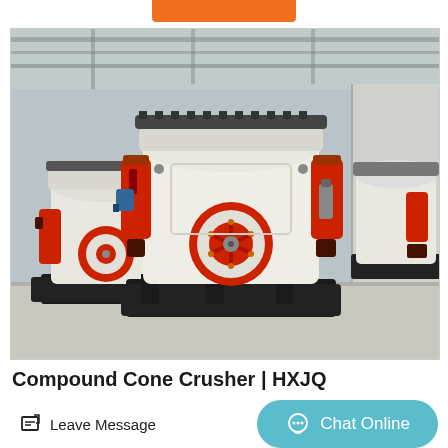[Figure (photo): Industrial cone crusher machines (compound cone crushers) in a factory/warehouse setting. The machines are large, white and black with red hydraulic components and a prominent red flywheel. Multiple units visible.]
Compound Cone Crusher | HXJQ
Leave Message
Chat Online